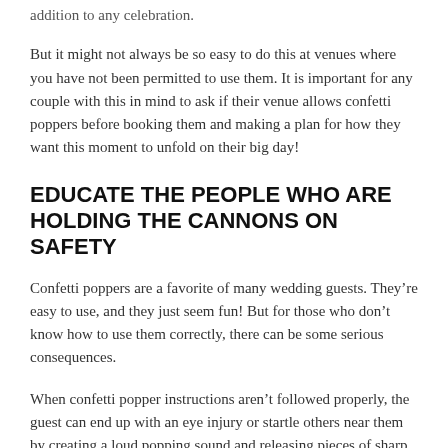addition to any celebration.
But it might not always be so easy to do this at venues where you have not been permitted to use them. It is important for any couple with this in mind to ask if their venue allows confetti poppers before booking them and making a plan for how they want this moment to unfold on their big day!
EDUCATE THE PEOPLE WHO ARE HOLDING THE CANNONS ON SAFETY
Confetti poppers are a favorite of many wedding guests. They’re easy to use, and they just seem fun! But for those who don’t know how to use them correctly, there can be some serious consequences.
When confetti popper instructions aren’t followed properly, the guest can end up with an eye injury or startle others near them by creating a loud popping sound and releasing pieces of sharp confetti all around. So make sure you take time